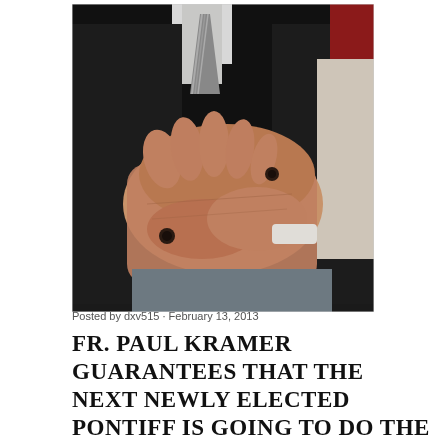[Figure (photo): Close-up photograph of an elderly man's hands folded together, showing dark marks (stigmata) on the palms. The man is wearing a dark suit jacket with a striped tie and white shirt. Another figure is partially visible on the right side wearing red and white vestments.]
Posted by dxv515 · February 13, 2013
FR. PAUL KRAMER GUARANTEES THAT THE NEXT NEWLY ELECTED PONTIFF IS GOING TO DO THE CONSECRATION OF RUSSIA! STIGMATIST ANTONIO RUFFINI SAID SO!